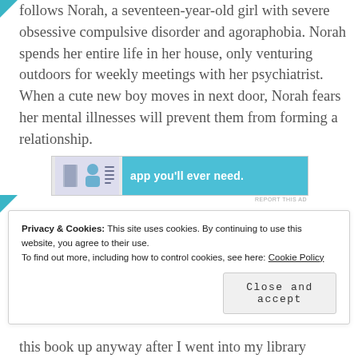follows Norah, a seventeen-year-old girl with severe obsessive compulsive disorder and agoraphobia. Norah spends her entire life in her house, only venturing outdoors for weekly meetings with her psychiatrist. When a cute new boy moves in next door, Norah fears her mental illnesses will prevent them from forming a relationship.
[Figure (screenshot): Blue advertisement banner showing app icons and text 'app you'll ever need.' with a 'REPORT THIS AD' label below.]
Privacy & Cookies: This site uses cookies. By continuing to use this website, you agree to their use.
To find out more, including how to control cookies, see here: Cookie Policy
Close and accept
this book up anyway after I went into my library